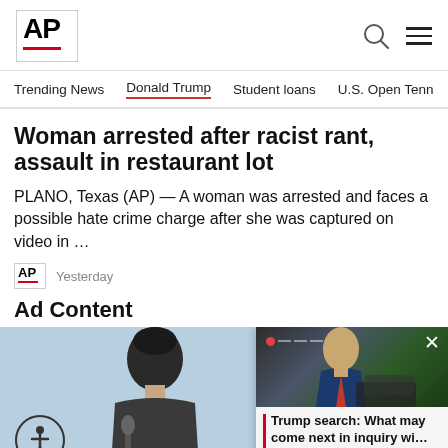AP
Trending News   Donald Trump   Student loans   U.S. Open Tenn
Woman arrested after racist rant, assault in restaurant lot
PLANO, Texas (AP) — A woman was arrested and faces a possible hate crime charge after she was captured on video in …
AP  Yesterday
Ad Content
[Figure (photo): Ad content photo showing a man outdoors with accessibility icon overlay]
[Figure (photo): Overlay card with photo of Trump and headline: Trump search: What may come next in inquiry wi...]